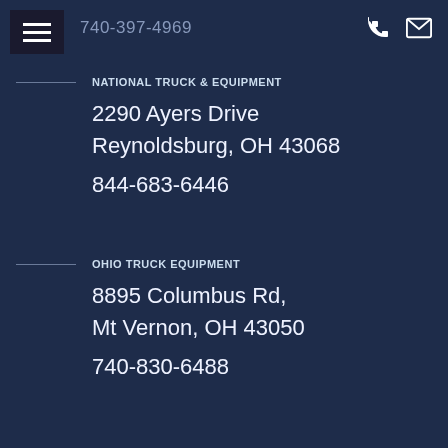Ohio Truck Equipment Mt Vernon, OH 43050
740-397-4969
NATIONAL TRUCK & EQUIPMENT
2290 Ayers Drive
Reynoldsburg, OH 43068
844-683-6446
OHIO TRUCK EQUIPMENT
8895 Columbus Rd,
Mt Vernon, OH 43050
740-830-6488